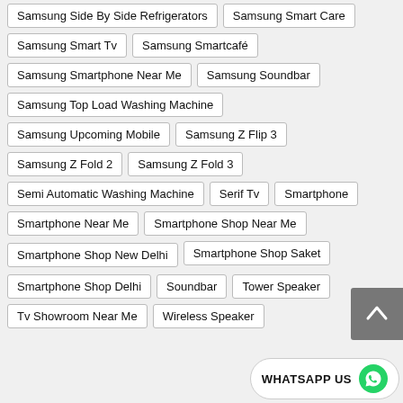Samsung Side By Side Refrigerators
Samsung Smart Care
Samsung Smart Tv
Samsung Smartcafé
Samsung Smartphone Near Me
Samsung Soundbar
Samsung Top Load Washing Machine
Samsung Upcoming Mobile
Samsung Z Flip 3
Samsung Z Fold 2
Samsung Z Fold 3
Semi Automatic Washing Machine
Serif Tv
Smartphone
Smartphone Near Me
Smartphone Shop Near Me
Smartphone Shop New Delhi
Smartphone Shop Saket
Smartphone Shop Delhi
Soundbar
Tower Speaker
Tv Showroom Near Me
Wireless Speaker